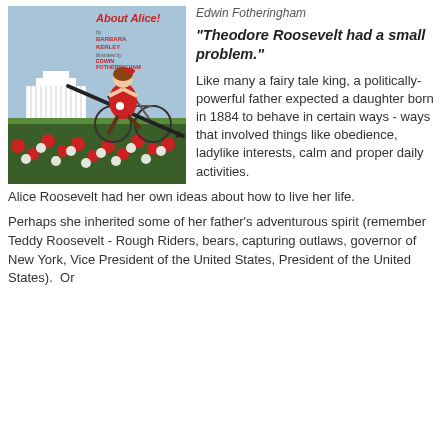[Figure (photo): Book cover of a children's book featuring a girl in a red dress riding a bicycle, with the White House in the background and red and white flowers in the foreground. Text on cover reads: 'About Alice.' by Barbara Kerley, illustrated by Edwin Fotheringham.]
Edwin Fotheringham
"Theodore Roosevelt had a small problem."
Like many a fairy tale king, a politically-powerful father expected a daughter born in 1884 to behave in certain ways - ways that involved things like obedience, ladylike interests, calm and proper daily activities.
Alice Roosevelt had her own ideas about how to live her life.
Perhaps she inherited some of her father's adventurous spirit (remember Teddy Roosevelt - Rough Riders, bears, capturing outlaws, governor of New York, Vice President of the United States, President of the United States).  Or